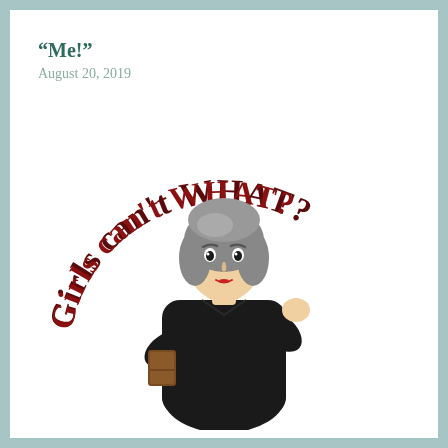“Me!”
August 20, 2019
[Figure (illustration): Cartoon illustration of a woman in a black judge's robe with gray hair, holding a book/gavel, with one fist raised. Arching above her in red bold stylized text: “Girls can’t WHAT?”]